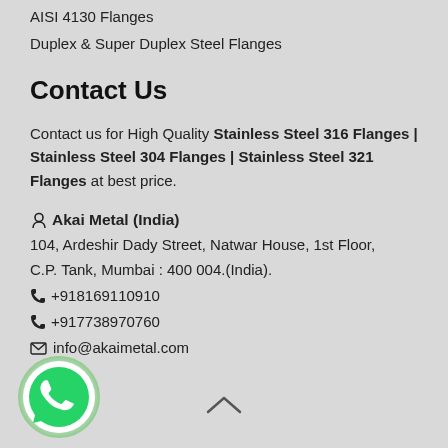AISI 4130 Flanges
Duplex & Super Duplex Steel Flanges
Contact Us
Contact us for High Quality Stainless Steel 316 Flanges | Stainless Steel 304 Flanges | Stainless Steel 321 Flanges at best price.
📍 Akai Metal (India)
104, Ardeshir Dady Street, Natwar House, 1st Floor, C.P. Tank, Mumbai : 400 004.(India).
📞 +918169110910
📞 +917738970760
✉ info@akaimetal.com
[Figure (logo): WhatsApp logo in green circle]
[Figure (other): Scroll to top chevron icon]